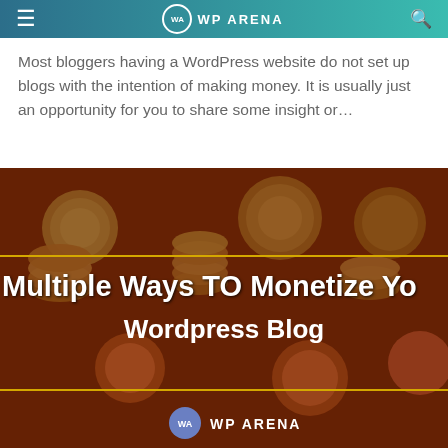WA WP ARENA
Most bloggers having a WordPress website do not set up blogs with the intention of making money. It is usually just an opportunity for you to share some insight or…
[Figure (photo): A photo of stacked coins on a red/brown background with text overlay reading 'Multiple Ways TO Monetize Your Wordpress Blog' and WP Arena logo at bottom]